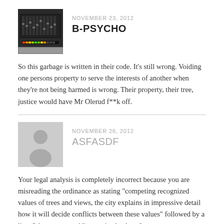[Figure (photo): Avatar image of B-PSYCHO showing a mixing board/audio equipment in dark tones]
NOVEMBER 23, 2012
B-PSYCHO
So this garbage is written in their code. It’s still wrong. Voiding one persons property to serve the interests of another when they’re not being harmed is wrong. Their property, their tree, justice would have Mr Olerud f**k off.
[Figure (illustration): Generic user avatar placeholder (gray silhouette of a person on light gray background)]
NOVEMBER 26, 2012
ASFASDF
Your legal analysis is completely incorrect because you are misreading the ordinance as stating “competing recognized values of trees and views, the city explains in impressive detail how it will decide conflicts between these values” followed by a list of these supposed “recognized values.”
In fact, the key provision in the ordinance states that the values that the city may consider are “NOT LIMITED TO” these so-called